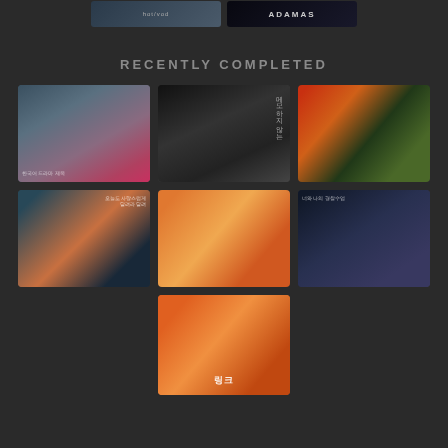[Figure (screenshot): Partial view of two drama poster thumbnails at top of screen - one dark styled drama and ADAMAS title visible]
RECENTLY COMPLETED
[Figure (screenshot): Grid of 7 Korean drama poster thumbnails under Recently Completed section. Row 1: historical/action drama with sword, dark mystery drama with newspaper, colorful group drama. Row 2: retro/quirky drama, bright market/car scene drama, dark action drama. Row 3: single orange-toned romance drama poster.]